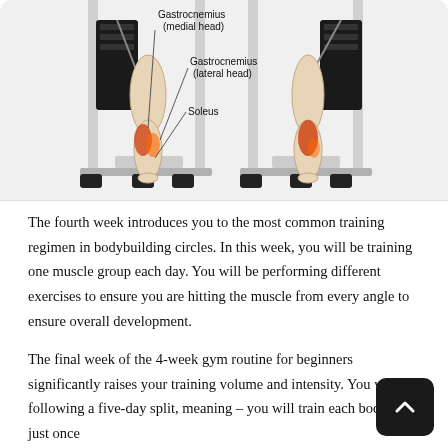[Figure (illustration): Anatomical illustration showing two side-by-side views of legs performing calf raises on a machine. Muscles labeled: Gastrocnemius (medial head), Gastrocnemius (lateral head), Soleus. Highlighted in red/orange on the calf region.]
The fourth week introduces you to the most common training regimen in bodybuilding circles. In this week, you will be training one muscle group each day. You will be performing different exercises to ensure you are hitting the muscle from every angle to ensure overall development.
The final week of the 4-week gym routine for beginners significantly raises your training volume and intensity. You will be following a five-day split, meaning – you will train each body part just once